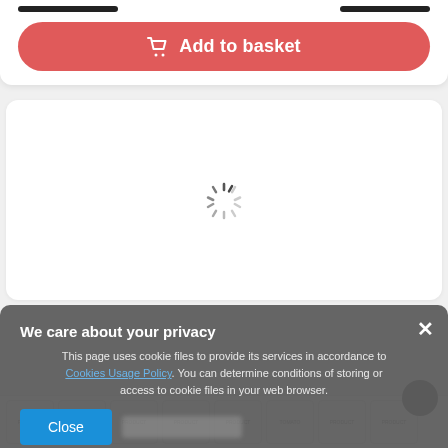[Figure (screenshot): Add to basket button (red/coral rounded button) with shopping cart icon at the top of a product page]
[Figure (screenshot): Loading spinner (circular loading indicator) centered in a white card area]
[Figure (screenshot): Cookie consent overlay popup with title 'We care about your privacy', explanatory text referencing Cookies Usage Policy, a Close button, and an X dismiss button]